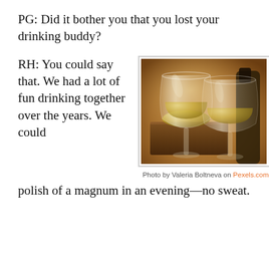PG: Did it bother you that you lost your drinking buddy?
RH: You could say that. We had a lot of fun drinking together over the years. We could polish of a magnum in an evening—no sweat.
[Figure (photo): Two glasses of white wine side by side on a wooden surface with warm bokeh background]
Photo by Valeria Boltneva on Pexels.com